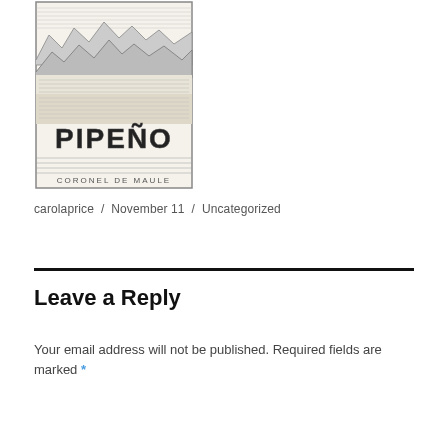[Figure (illustration): Black and white pen illustration of a wine label reading PIPEÑO with mountain landscape and text CORONEL DE MAULE at the bottom]
carolaprice / November 11 / Uncategorized
Leave a Reply
Your email address will not be published. Required fields are marked *